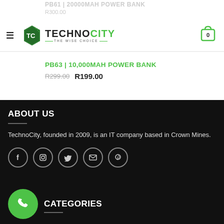PB61 | 20000MAH POWER BANK
[Figure (logo): TechnoCity logo with green hexagon icon and shopping cart]
PB63 | 10,000MAH POWER BANK
R299.00  R199.00
ABOUT US
TechnoCity, founded in 2009, is an IT company based in Crown Mines.
[Figure (infographic): Social media icons row: Facebook, Instagram, Twitter, Email, Pinterest]
[Figure (infographic): Green phone FAB button]
CATEGORIES